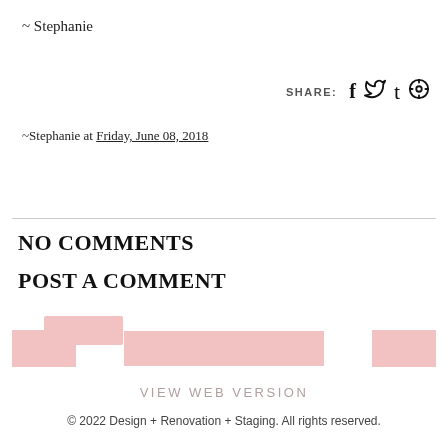~ Stephanie
SHARE: [social icons: Facebook, Twitter, Tumblr, Pinterest]
~Stephanie at Friday, June 08, 2018
Share [button]
NO COMMENTS
POST A COMMENT
< [prev] HOME > [next]
VIEW WEB VERSION
© 2022 Design + Renovation + Staging. All rights reserved.